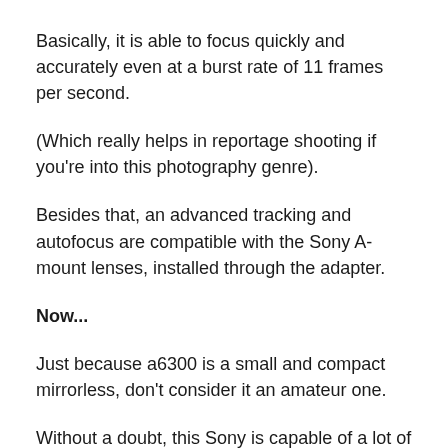Basically, it is able to focus quickly and accurately even at a burst rate of 11 frames per second.
(Which really helps in reportage shooting if you're into this photography genre).
Besides that, an advanced tracking and autofocus are compatible with the Sony A-mount lenses, installed through the adapter.
Now...
Just because a6300 is a small and compact mirrorless, don't consider it an amateur one.
Without a doubt, this Sony is capable of a lot of things.
For example: